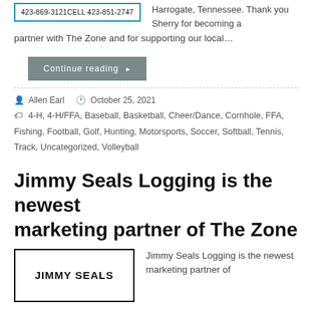[Figure (other): Advertisement box with phone numbers: 423-869-3121 and CELL 423-851-2747, teal border]
Harrogate, Tennessee. Thank you Sherry for becoming a partner with The Zone and for supporting our local…
Continue reading →
Allen Earl   October 25, 2021
4-H, 4-H/FFA, Baseball, Basketball, Cheer/Dance, Cornhole, FFA, Fishing, Football, Golf, Hunting, Motorsports, Soccer, Softball, Tennis, Track, Uncategorized, Volleyball
Jimmy Seals Logging is the newest marketing partner of The Zone
[Figure (logo): JIMMY SEALS logo in bold text with black border box]
Jimmy Seals Logging is the newest marketing partner of